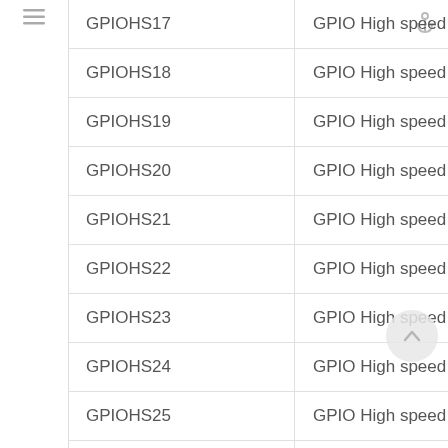| GPIOHS17 | GPIO High speed 17 |
| GPIOHS18 | GPIO High speed 18 |
| GPIOHS19 | GPIO High speed 19 |
| GPIOHS20 | GPIO High speed 20 |
| GPIOHS21 | GPIO High speed 21 |
| GPIOHS22 | GPIO High speed 22 |
| GPIOHS23 | GPIO High speed 23 |
| GPIOHS24 | GPIO High speed 24 |
| GPIOHS25 | GPIO High speed 25 |
| GPIOHS26 | GPIO High speed 26 |